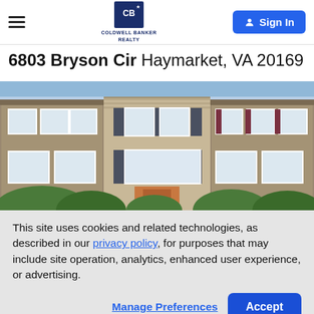Coldwell Banker Realty — Sign In
6803 Bryson Cir Haymarket, VA 20169
[Figure (photo): Exterior photo of townhomes at 6803 Bryson Cir, Haymarket VA — three side-by-side townhouse units with stone and siding facades, black shutters, and green shrubbery in front.]
This site uses cookies and related technologies, as described in our privacy policy, for purposes that may include site operation, analytics, enhanced user experience, or advertising.
Manage Preferences   Accept